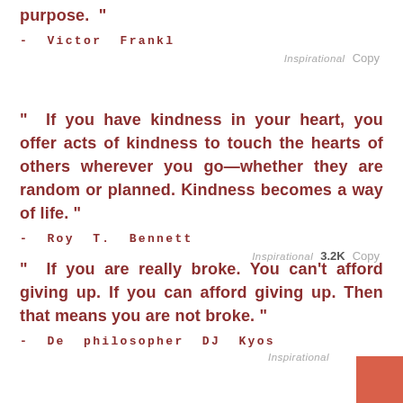purpose. ”
- Victor Frankl
Inspirational   Copy
“ If you have kindness in your heart, you offer acts of kindness to touch the hearts of others wherever you go—whether they are random or planned. Kindness becomes a way of life. ”
- Roy T. Bennett
Inspirational   3.2K   Copy
“ If you are really broke. You can’t afford giving up. If you can afford giving up. Then that means you are not broke. ”
- De philosopher DJ Kyos
Inspirational